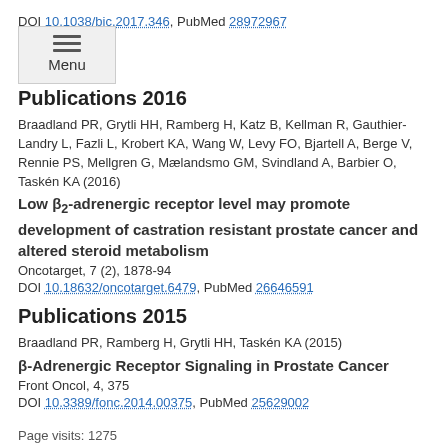DOI 10.1038/bjc.2017.346, PubMed 28972967
Publications 2016
Braadland PR, Grytli HH, Ramberg H, Katz B, Kellman R, Gauthier-Landry L, Fazli L, Krobert KA, Wang W, Levy FO, Bjartell A, Berge V, Rennie PS, Mellgren G, Mælandsmo GM, Svindland A, Barbier O, Taskén KA (2016)
Low β2-adrenergic receptor level may promote development of castration resistant prostate cancer and altered steroid metabolism
Oncotarget, 7 (2), 1878-94
DOI 10.18632/oncotarget.6479, PubMed 26646591
Publications 2015
Braadland PR, Ramberg H, Grytli HH, Taskén KA (2015)
β-Adrenergic Receptor Signaling in Prostate Cancer
Front Oncol, 4, 375
DOI 10.3389/fonc.2014.00375, PubMed 25629002
Page visits: 1275